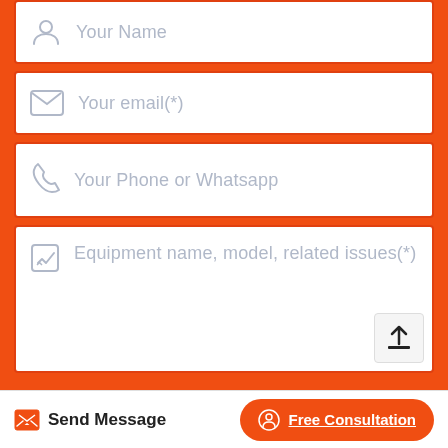[Figure (screenshot): Contact form with fields: Your Name, Your email(*), Your Phone or Whatsapp, Equipment name model related issues(*), I accept the Data Protection Declaration checkbox, Send Message button, Free Consultation button]
Your Name
Your email(*)
Your Phone or Whatsapp
Equipment name, model, related issues(*)
I accept the Data Protection Declaration
Send Message
Free Consultation